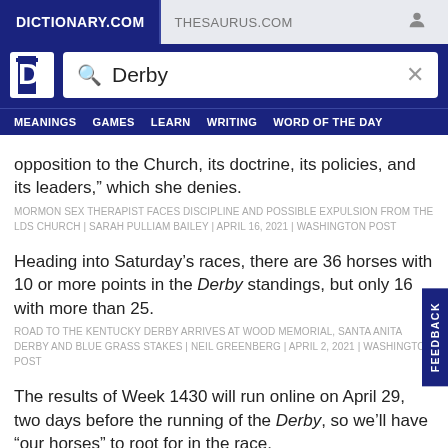DICTIONARY.COM   THESAURUS.COM
[Figure (screenshot): Dictionary.com logo with search bar containing 'Derby']
MEANINGS   GAMES   LEARN   WRITING   WORD OF THE DAY
opposition to the Church, its doctrine, its policies, and its leaders,” which she denies.
MORMON SEX THERAPIST FACES DISCIPLINE AND POSSIBLE EXPULSION FROM THE LDS CHURCH | SARAH PULLIAM BAILEY | APRIL 16, 2021 | WASHINGTON POST
Heading into Saturday’s races, there are 36 horses with 10 or more points in the Derby standings, but only 16 with more than 25.
ROAD TO THE KENTUCKY DERBY ARRIVES AT WOOD MEMORIAL, SANTA ANITA DERBY AND BLUE GRASS STAKES | NEIL GREENBERG | APRIL 2, 2021 | WASHINGTON POST
The results of Week 1430 will run online on April 29, two days before the running of the Derby, so we’ll have “our horses” to root for in the race.
STYLE CONVERSATIONAL WEEK 1430: BACK IN THE SADDLE AGAIN | PAT